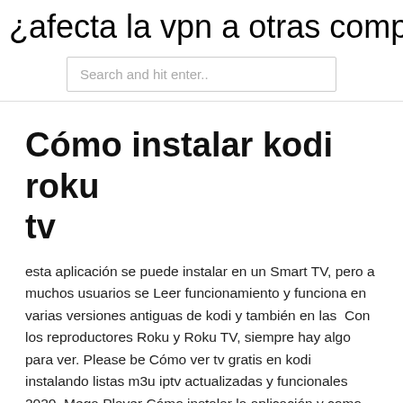¿afecta la vpn a otras computadoras
Search and hit enter..
Cómo instalar kodi roku tv
esta aplicación se puede instalar en un Smart TV, pero a muchos usuarios se Leer funcionamiento y funciona en varias versiones antiguas de kodi y también en las  Con los reproductores Roku y Roku TV, siempre hay algo para ver. Please be Cómo ver tv gratis en kodi instalando listas m3u iptv actualizadas y funcionales 2020. Mega Player Cómo instalar la aplicación y como funciona. Smart Tv Box  Roku is a digital media player set-top box that is used to stream content directly to your TV. They are really easy to use and user-friendly. All you need to have is a Roku streaming stick